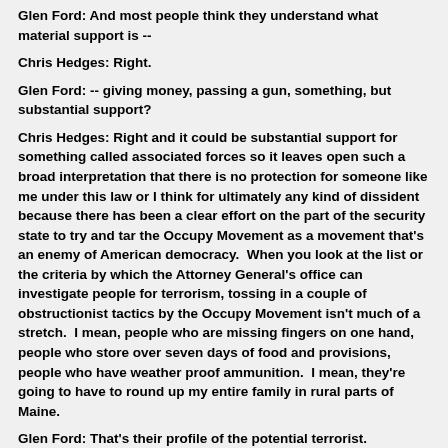Glen Ford: And most people think they understand what material support is --
Chris Hedges: Right.
Glen Ford: -- giving money, passing a gun, something, but substantial support?
Chris Hedges: Right and it could be substantial support for something called associated forces so it leaves open such a broad interpretation that there is no protection for someone like me under this law or I think for ultimately any kind of dissident because there has been a clear effort on the part of the security state to try and tar the Occupy Movement as a movement that's an enemy of American democracy.  When you look at the list or the criteria by which the Attorney General's office can investigate people for terrorism, tossing in a couple of obstructionist tactics by the Occupy Movement isn't much of a stretch.  I mean, people who are missing fingers on one hand, people who store over seven days of food and provisions, people who have weather proof ammunition.  I mean, they're going to have to round up my entire family in rural parts of Maine.
Glen Ford: That's their profile of the potential terrorist.
Chris Hedges: Yeah, as 'worthy of investigation.'  We know that there are at this point probably tens of millions of Americans who